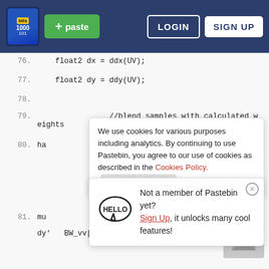[Figure (screenshot): Pastebin website header with logo, green paste button, LOGIN and SIGN UP buttons on dark blue background]
76.    float2 dx = ddx(UV);
77.    float2 dy = ddy(UV);
78.
79.    //blend samples with calculated weights
80.    ha
We use cookies for various purposes including analytics. By continuing to use Pastebin, you agree to our use of cookies as described in the Cookies Policy. OK, I Understand
81.    mu
dy'   BW_vv[2].v) +
Not a member of Pastebin yet? Sign Up, it unlocks many cool features!
82.    mu
dy), BW_vx[3].z);
83.            }
84.
85.    void surf (Input IN, inout SurfaceOutputStandard o)